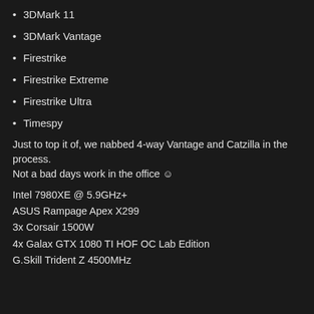3DMark 11
3DMark Vantage
Firestrike
Firestrike Extreme
Firestrike Ultra
Timespy
Just to top it of, we nabbed 4-way Vantage and Catzilla in the process.
Not a bad days work in the office ☺
Intel 7980XE @ 5.9GHz+
ASUS Rampage Apex X299
3x Corsair 1500W
4x Galax GTX 1080 TI HOF OC Lab Edition
G.Skill Trident Z 4500MHz